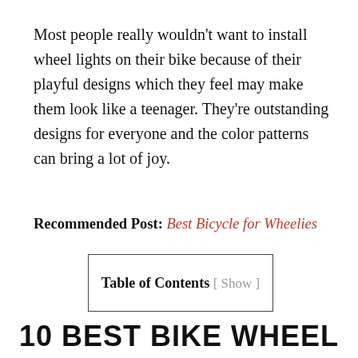Most people really wouldn't want to install wheel lights on their bike because of their playful designs which they feel may make them look like a teenager. They're outstanding designs for everyone and the color patterns can bring a lot of joy.
Recommended Post: Best Bicycle for Wheelies
Table of Contents [ Show ]
10 BEST BIKE WHEEL